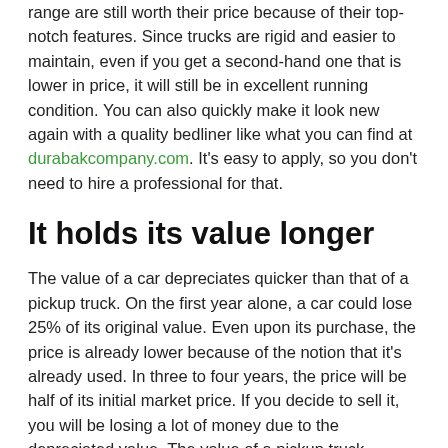range are still worth their price because of their top-notch features. Since trucks are rigid and easier to maintain, even if you get a second-hand one that is lower in price, it will still be in excellent running condition. You can also quickly make it look new again with a quality bedliner like what you can find at durabakcompany.com. It's easy to apply, so you don't need to hire a professional for that.
It holds its value longer
The value of a car depreciates quicker than that of a pickup truck. On the first year alone, a car could lose 25% of its original value. Even upon its purchase, the price is already lower because of the notion that it's already used. In three to four years, the price will be half of its initial market price. If you decide to sell it, you will be losing a lot of money due to the depreciated value. The value of a pickup truck depreciates slower, which means that you will still be able to sell it at a good price in case you decide to. One of the reasons is its durability,